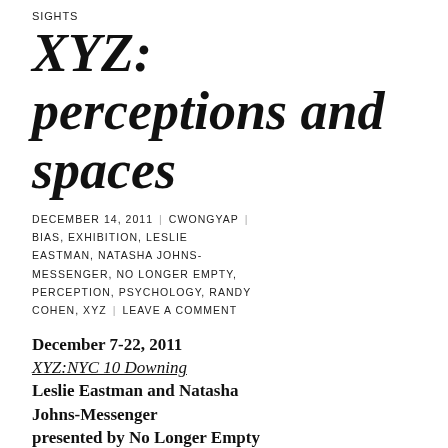SIGHTS
XYZ: perceptions and spaces
DECEMBER 14, 2011 | CWONGYAP | BIAS, EXHIBITION, LESLIE EASTMAN, NATASHA JOHNS-MESSENGER, NO LONGER EMPTY, PERCEPTION, PSYCHOLOGY, RANDY COHEN, XYZ | LEAVE A COMMENT
December 7-22, 2011
XYZ:NYC 10 Downing
Leslie Eastman and Natasha Johns-Messenger
presented by No Longer Empty
10 Downing Street, West Village, NYC